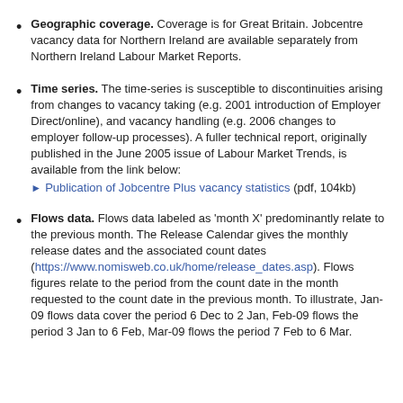Geographic coverage. Coverage is for Great Britain. Jobcentre vacancy data for Northern Ireland are available separately from Northern Ireland Labour Market Reports.
Time series. The time-series is susceptible to discontinuities arising from changes to vacancy taking (e.g. 2001 introduction of Employer Direct/online), and vacancy handling (e.g. 2006 changes to employer follow-up processes). A fuller technical report, originally published in the June 2005 issue of Labour Market Trends, is available from the link below: Publication of Jobcentre Plus vacancy statistics (pdf, 104kb)
Flows data. Flows data labeled as 'month X' predominantly relate to the previous month. The Release Calendar gives the monthly release dates and the associated count dates (https://www.nomisweb.co.uk/home/release_dates.asp). Flows figures relate to the period from the count date in the month requested to the count date in the previous month. To illustrate, Jan-09 flows data cover the period 6 Dec to 2 Jan, Feb-09 flows the period 3 Jan to 6 Feb, Mar-09 flows the period 7 Feb to 6 Mar.